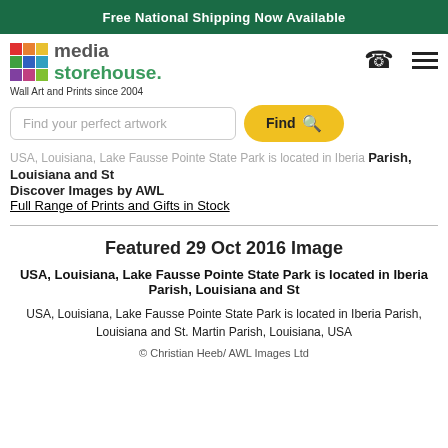Free National Shipping Now Available
[Figure (logo): Media Storehouse logo with colorful grid squares and text 'media storehouse. Wall Art and Prints since 2004']
Find your perfect artwork
Find
USA, Louisiana, Lake Fausse Pointe State Park is located in Iberia Parish, Louisiana and St
Discover Images by AWL
Full Range of Prints and Gifts in Stock
Featured 29 Oct 2016 Image
USA, Louisiana, Lake Fausse Pointe State Park is located in Iberia Parish, Louisiana and St
USA, Louisiana, Lake Fausse Pointe State Park is located in Iberia Parish, Louisiana and St. Martin Parish, Louisiana, USA
© Christian Heeb/ AWL Images Ltd